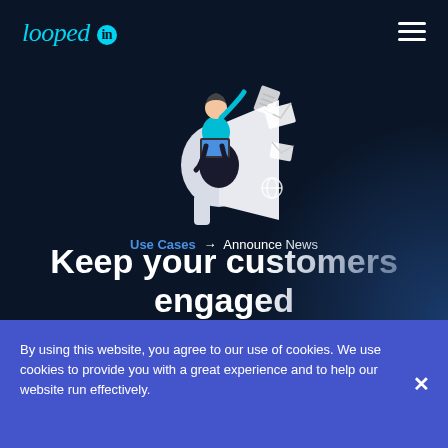looped in
[Figure (illustration): Illustration of a person sitting on a megaphone with a laptop, pointing upward, with envelope and document icons flying out]
Use Cases → Announce News
Keep your customers engaged
By using this website, you agree to our use of cookies. We use cookies to provide you with a great experience and to help our website run effectively.